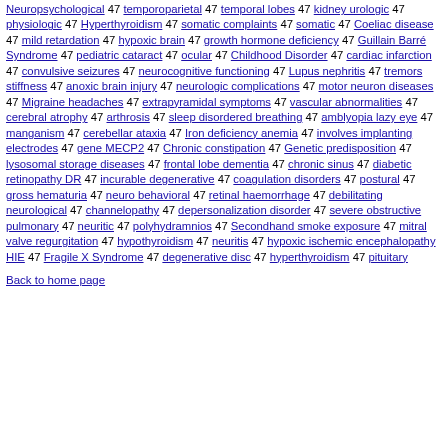Neuropsychological 47 temporoparietal 47 temporal lobes 47 kidney urologic 47 physiologic 47 Hyperthyroidism 47 somatic complaints 47 somatic 47 Coeliac disease 47 mild retardation 47 hypoxic brain 47 growth hormone deficiency 47 Guillain Barré Syndrome 47 pediatric cataract 47 ocular 47 Childhood Disorder 47 cardiac infarction 47 convulsive seizures 47 neurocognitive functioning 47 Lupus nephritis 47 tremors stiffness 47 anoxic brain injury 47 neurologic complications 47 motor neuron diseases 47 Migraine headaches 47 extrapyramidal symptoms 47 vascular abnormalities 47 cerebral atrophy 47 arthrosis 47 sleep disordered breathing 47 amblyopia lazy eye 47 manganism 47 cerebellar ataxia 47 Iron deficiency anemia 47 involves implanting electrodes 47 gene MECP2 47 Chronic constipation 47 Genetic predisposition 47 lysosomal storage diseases 47 frontal lobe dementia 47 chronic sinus 47 diabetic retinopathy DR 47 incurable degenerative 47 coagulation disorders 47 postural 47 gross hematuria 47 neuro behavioral 47 retinal haemorrhage 47 debilitating neurological 47 channelopathy 47 depersonalization disorder 47 severe obstructive pulmonary 47 neuritic 47 polyhydramnios 47 Secondhand smoke exposure 47 mitral valve regurgitation 47 hypothyroidism 47 neuritis 47 hypoxic ischemic encephalopathy HIE 47 Fragile X Syndrome 47 degenerative disc 47 hyperthyroidism 47 pituitary
Back to home page